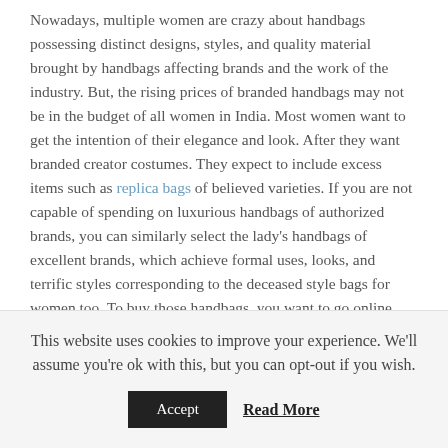Nowadays, multiple women are crazy about handbags possessing distinct designs, styles, and quality material brought by handbags affecting brands and the work of the industry. But, the rising prices of branded handbags may not be in the budget of all women in India. Most women want to get the intention of their elegance and look. After they want branded creator costumes. They expect to include excess items such as replica bags of believed varieties. If you are not capable of spending on luxurious handbags of authorized brands, you can similarly select the lady's handbags of excellent brands, which achieve formal uses, looks, and terrific styles corresponding to the deceased style bags for women too. To buy those handbags, you want to go online and get replica handbags for women at websites of the
This website uses cookies to improve your experience. We'll assume you're ok with this, but you can opt-out if you wish.
Accept  Read More